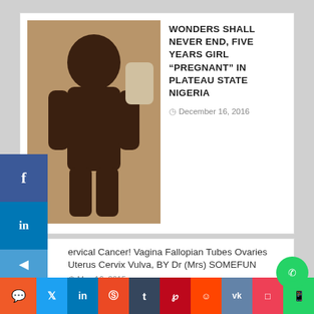[Figure (photo): Photo of a child sitting on a white plastic chair]
WONDERS SHALL NEVER END, FIVE YEARS GIRL “PREGNANT” IN PLATEAU STATE NIGERIA
December 16, 2016
Cervical Cancer! Vagina Fallopian Tubes Ovaries Uterus Cervix Vulva, BY Dr (Mrs) SOMEFUN
May 16, 2015
MEGA CHICKEN: CELEBRATION OF AN ICON.
May 12, 2015
[Figure (screenshot): Video thumbnail showing travel right with palm trees and a person avatar]
Social share bar: chat, twitter, linkedin, stumbleupon, tumblr, pinterest, reddit, vk, pocket, whatsapp